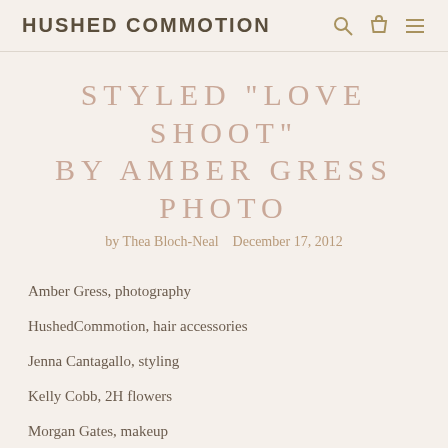HUSHED COMMOTION
STYLED "LOVE SHOOT" BY AMBER GRESS PHOTO
by Thea Bloch-Neal   December 17, 2012
Amber Gress, photography
HushedCommotion, hair accessories
Jenna Cantagallo, styling
Kelly Cobb, 2H flowers
Morgan Gates, makeup
Sarah Dorkin, cookies (sdorkin@gmail.com)
Models and Illustration Artist: Masha Bl...